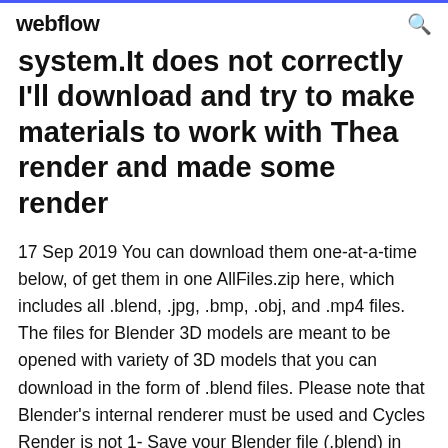webflow
system.It does not correctly I'll download and try to make materials to work with Thea render and made some render
17 Sep 2019 You can download them one-at-a-time below, of get them in one AllFiles.zip here, which includes all .blend, .jpg, .bmp, .obj, and .mp4 files. The files for Blender 3D models are meant to be opened with variety of 3D models that you can download in the form of .blend files. Please note that Blender's internal renderer must be used and Cycles Render is not 1- Save your Blender file (.blend) in the same folder as your .obj file, if you blend files